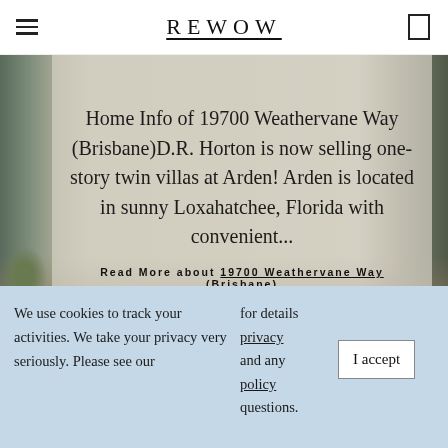REWOW
Home Info of 19700 Weathervane Way (Brisbane)D.R. Horton is now selling one-story twin villas at Arden! Arden is located in sunny Loxahatchee, Florida with convenient...
Read More about 19700 Weathervane Way (Brisbane)
We use cookies to track your activities. We take your privacy very seriously. Please see our for details privacy and any policy questions.
I accept